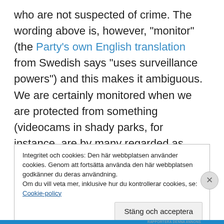who are not suspected of crime. The wording above is, however, "monitor" (the Party's own English translation from Swedish says "uses surveillance powers") and this makes it ambiguous. We are certainly monitored when we are protected from something (videocams in shady parks, for instance, are by many regarded as benign). And if we, as the next sentence suggests, should be guaranteed anonymity (in any context?), much social life would become impossible (at least if we imagine that a considerable amount of people would take advantage of
Integritet och cookies: Den här webbplatsen använder cookies. Genom att fortsätta använda den här webbplatsen godkänner du deras användning.
Om du vill veta mer, inklusive hur du kontrollerar cookies, se: Cookie-policy
Stäng och acceptera